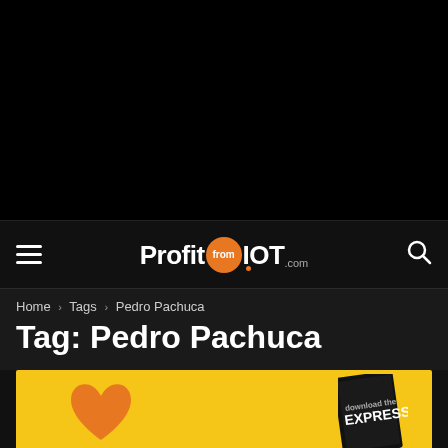[Figure (screenshot): Black header area of website]
ProfitfromIOT.com
Home › Tags › Pedro Pachuca
Tag: Pedro Pachuca
[Figure (photo): Yellow banner image with orange heart and Express magazine cover]